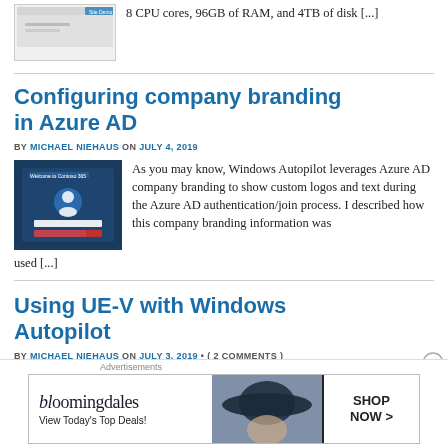8 CPU cores, 96GB of RAM, and 4TB of disk [...]
Configuring company branding in Azure AD
BY MICHAEL NIEHAUS ON JULY 4, 2019
[Figure (screenshot): Azure AD login screen with blue background and user icon]
As you may know, Windows Autopilot leverages Azure AD company branding to show custom logos and text during the Azure AD authentication/join process.  I described how this company branding information was used [...]
Using UE-V with Windows Autopilot
BY MICHAEL NIEHAUS ON JULY 3, 2019 • ( 2 COMMENTS )
[Figure (screenshot): Bloomingdales advertisement banner - View Today's Top Deals - SHOP NOW]
Advertisements